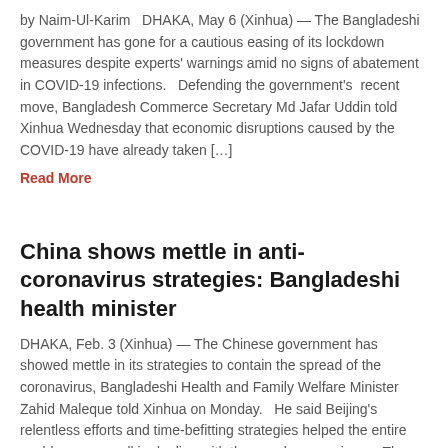by Naim-Ul-Karim   DHAKA, May 6 (Xinhua) — The Bangladeshi government has gone for a cautious easing of its lockdown measures despite experts' warnings amid no signs of abatement in COVID-19 infections.   Defending the government's  recent move, Bangladesh Commerce Secretary Md Jafar Uddin told Xinhua Wednesday that economic disruptions caused by the COVID-19 have already taken […]
Read More
China shows mettle in anti-coronavirus strategies: Bangladeshi health minister
DHAKA, Feb. 3 (Xinhua) — The Chinese government has showed mettle in its strategies to contain the spread of the coronavirus, Bangladeshi Health and Family Welfare Minister Zahid Maleque told Xinhua on Monday.   He said Beijing's relentless efforts and time-befitting strategies helped the entire world prepare well in dealing with the novel coronavirus.    The actions […]
Read More